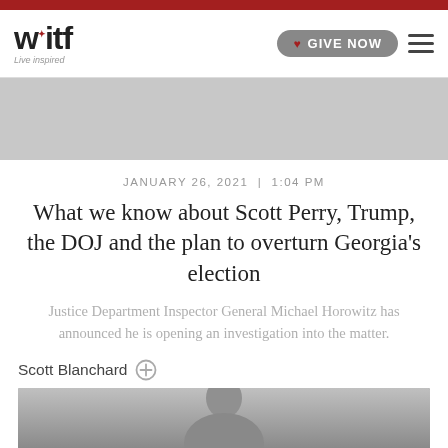witf — Live Inspired | GIVE NOW
JANUARY 26, 2021 | 1:04 PM
What we know about Scott Perry, Trump, the DOJ and the plan to overturn Georgia's election
Justice Department Inspector General Michael Horowitz has announced he is opening an investigation into the matter.
Scott Blanchard
[Figure (photo): Headshot photo of a man, partially visible, gray background]